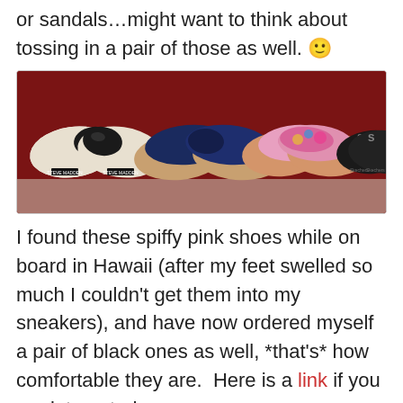or sandals…might want to think about tossing in a pair of those as well. 🙂
[Figure (photo): Photo of four pairs of flat shoes arranged side by side on a dark red/burgundy surface: black patent flats (Steve Madden), navy blue suede flats, colorful floral print flats, and black Skechers sneakers.]
I found these spiffy pink shoes while on board in Hawaii (after my feet swelled so much I couldn't get them into my sneakers), and have now ordered myself a pair of black ones as well, *that's* how comfortable they are.  Here is a link if you are interested:
[Figure (photo): Partial photo of pink shoes, visible at bottom of page.]